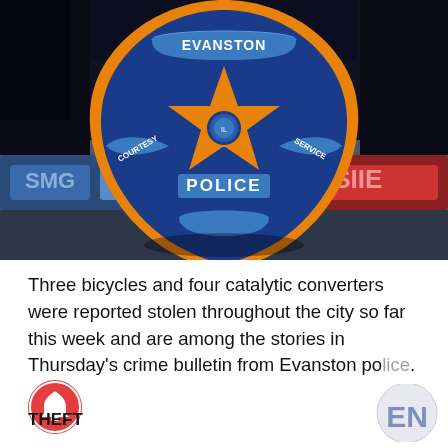[Figure (photo): Evanston Police badge/shield logo centered over a stylized police car scene with blue and red lights. The badge is blue with an orange star and reads EVANSTON at the top, POLICE in the center, COURTESY on the left ribbon and SERVICE on the right ribbon.]
Three bicycles and four catalytic converters were reported stolen throughout the city so far this week and are among the stories in Thursday's crime bulletin from Evanston police.
THEFT